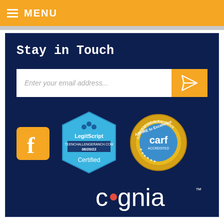≡ MENU
Stay in Touch
Enter your email address...
[Figure (logo): Facebook logo icon - orange square with white 'f']
[Figure (logo): LegitScript Certified badge - blue octagon shape with text: LegitScript, TEENCHALLENGERANCH.COM, 08/20/22, Certified]
[Figure (logo): CARF Accredited badge - gold seal with text: ASPIRE to Excellence, carf, ACCREDITED]
[Figure (logo): Cognia logo - white text 'cognia' with red dot on the 'o', trademark symbol]